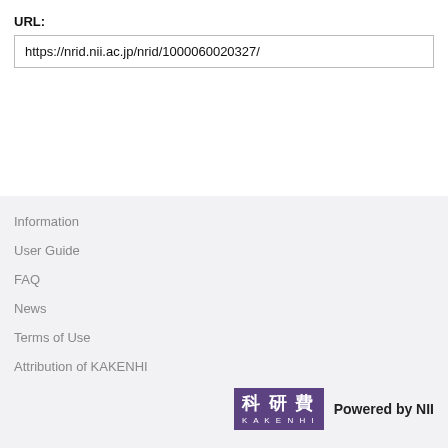URL:
https://nrid.nii.ac.jp/nrid/1000060020327/
Information
User Guide
FAQ
News
Terms of Use
Attribution of KAKENHI
[Figure (logo): KAKENHI logo — purple rectangle with Japanese kanji 科研費 and KAKENHI text below, followed by 'Powered by NII' text]